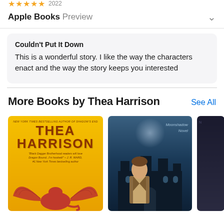Apple Books Preview
Couldn't Put It Down
This is a wonderful story. I like the way the characters enact and the way the story keeps you interested
More Books by Thea Harrison
See All
[Figure (photo): Book covers row: Thea Harrison yellow cover with red dragon, Moonshadow teal cover with man figure, partial dark cover]